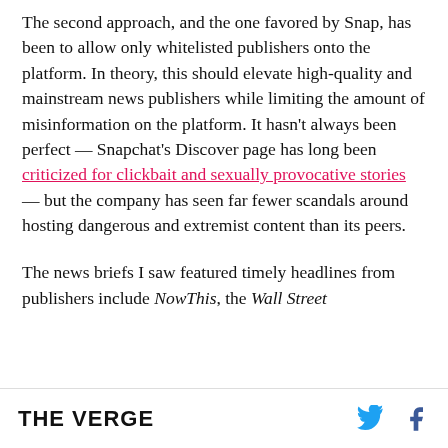The second approach, and the one favored by Snap, has been to allow only whitelisted publishers onto the platform. In theory, this should elevate high-quality and mainstream news publishers while limiting the amount of misinformation on the platform. It hasn't always been perfect — Snapchat's Discover page has long been criticized for clickbait and sexually provocative stories — but the company has seen far fewer scandals around hosting dangerous and extremist content than its peers.
The news briefs I saw featured timely headlines from publishers include NowThis, the Wall Street
THE VERGE